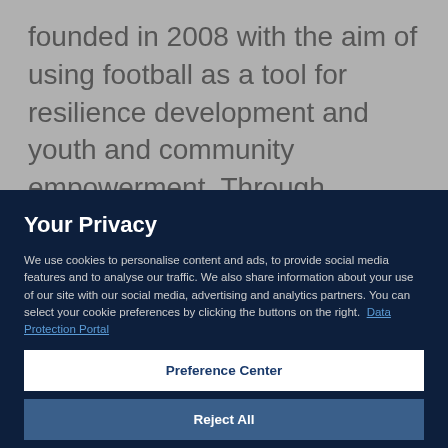founded in 2008 with the aim of using football as a tool for resilience development and youth and community empowerment. Through football, they work to develop the life skills of children and young people living in
Your Privacy
We use cookies to personalise content and ads, to provide social media features and to analyse our traffic. We also share information about your use of our site with our social media, advertising and analytics partners. You can select your cookie preferences by clicking the buttons on the right.  Data Protection Portal
Preference Center
Reject All
I'm OK with that